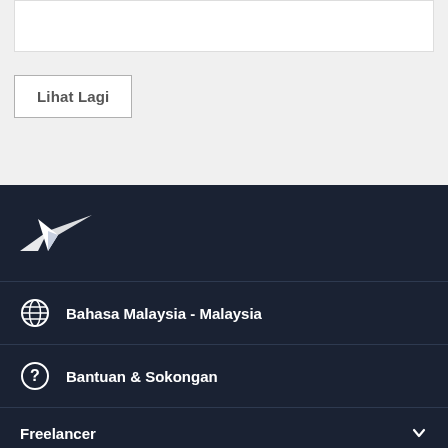Lihat Lagi
[Figure (logo): Freelancer.com bird/lightning logo in white]
Bahasa Malaysia - Malaysia
Bantuan & Sokongan
Freelancer
Tugas